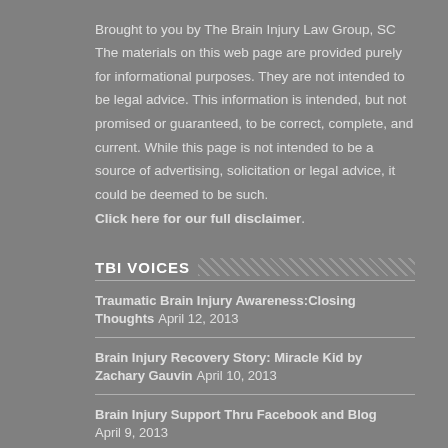Brought to you by The Brain Injury Law Group, SC The materials on this web page are provided purely for informational purposes. They are not intended to be legal advice. This information is intended, but not promised or guaranteed, to be correct, complete, and current. While this page is not intended to be a source of advertising, solicitation or legal advice, it could be deemed to be such. Click here for our full disclaimer.
TBI VOICES
Traumatic Brain Injury Awareness:Closing Thoughts April 12, 2013
Brain Injury Recovery Story: Miracle Kid by Zachary Gauvin April 10, 2013
Brain Injury Support Thru Facebook and Blog April 9, 2013
Decisions After Brain Injury: Food is the